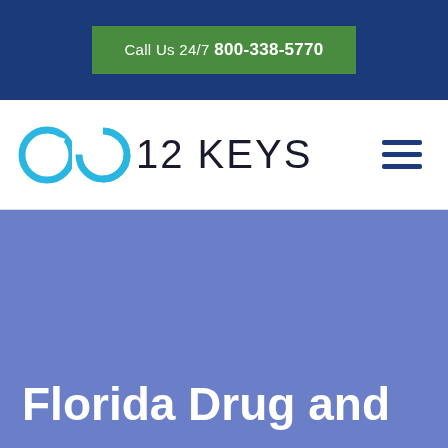Call Us 24/7 800-338-5770
[Figure (logo): 12 Keys rehab logo with circular C icon and text '12 KEYS']
Florida Drug and